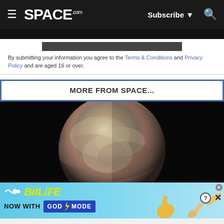SPACE.com — Subscribe | Search
By submitting your information you agree to the Terms & Conditions and Privacy Policy and are aged 16 or over.
MORE FROM SPACE...
[Figure (photo): Close-up photograph of Pluto against a black space background, showing its varied surface textures including reddish-brown regions and lighter areas]
[Figure (illustration): BitLife advertisement banner: 'NOW WITH GOD MODE' on a light blue background with cartoon hand and thumbs-up imagery]